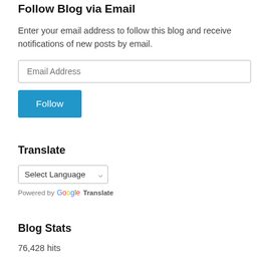Follow Blog via Email
Enter your email address to follow this blog and receive notifications of new posts by email.
Email Address (input field)
Follow (button)
Translate
Select Language (dropdown)
Powered by Google Translate
Blog Stats
76,428 hits